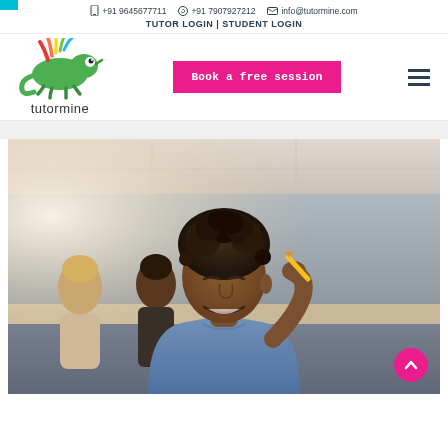+91 9645677711  +91 7907927212  info@tutormine.com
TUTOR LOGIN | STUDENT LOGIN
[Figure (logo): Tutormine logo: colorful chameleon with text 'tutormine' below]
Book a free session
[Figure (photo): A smiling young man with curly hair holding a pencil, studying at a desk in a classroom or office setting, with other people in the background]